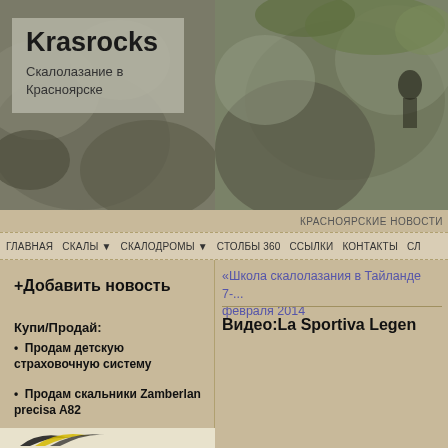[Figure (photo): Header banner with two rock climbing photos. Left side shows rocky terrain in muted grey-green tones. Right side shows a climber on large rocks with green foliage in background.]
Krasrocks
Скалолазание в Красноярске
КРАСНОЯРСКИЕ НОВОСТИ
ГЛАВНАЯ   СКАЛЫ ▾   СКАЛОДРОМЫ ▾   СТОЛБЫ 360   ССЫЛКИ   КОНТАКТЫ   СЛ
«Школа скалолазания в Тайланде 7-... февраля 2014
+Добавить новость
Купи/Продай:
Продам детскую страховочную систему
Продам скальники Zamberlan precisa A82
Видео:La Sportiva Legen
[Figure (logo): Partial logo visible at bottom left — stylized wing or leaf shape in black and yellow on light background]